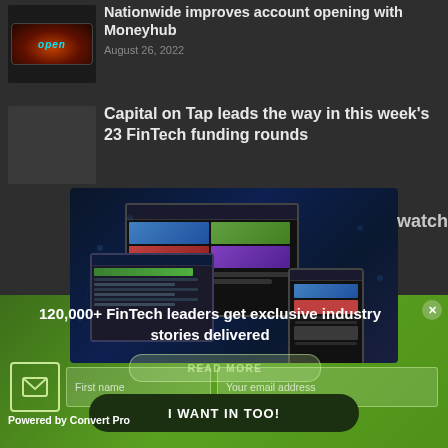[Figure (photo): Small thumbnail image showing an 'open' neon sign on dark background]
Nationwide improves account opening with Moneyhub
August 26, 2022
[Figure (photo): Small thumbnail image for Capital on Tap article]
Capital on Tap leads the way in this week's 23 FinTech funding rounds
[Figure (screenshot): Newsletter preview showing website across desktop, tablet, and mobile devices with dark blue tech background]
watch
READ MORE
120,000+ FinTech leaders get exclusive industry stories delivered
First name
Your email address
I WANT IN TOO!
Powered by Convert Pro